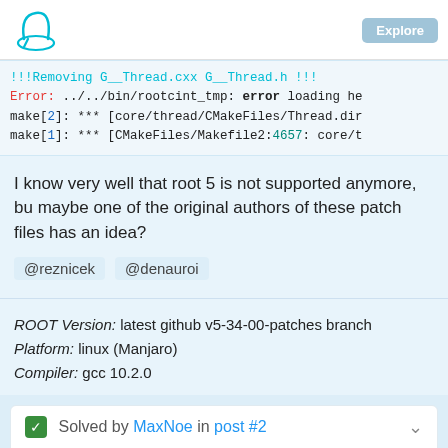!!!Removing G__Thread.cxx G__Thread.h !!!
Error: ../../bin/rootcint_tmp: error loading he
make[2]: *** [core/thread/CMakeFiles/Thread.dir
make[1]: *** [CMakeFiles/Makefile2:4657: core/t
I know very well that root 5 is not supported anymore, bu maybe one of the original authors of these patch files has an idea?
@reznicek @denauroi
ROOT Version: latest github v5-34-00-patches branch
Platform: linux (Manjaro)
Compiler: gcc 10.2.0
✓ Solved by MaxNoe in post #2
The was a parentheses error in the patch file, one parenthesis needs to be removed in each line of the patch: